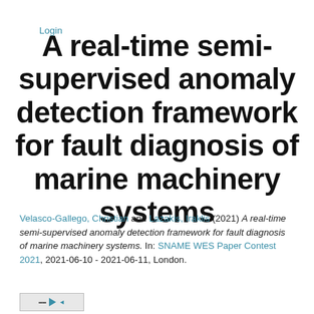Login
A real-time semi-supervised anomaly detection framework for fault diagnosis of marine machinery systems
Velasco-Gallego, Christian and Lazakis, Iraklis (2021) A real-time semi-supervised anomaly detection framework for fault diagnosis of marine machinery systems. In: SNAME WES Paper Contest 2021, 2021-06-10 - 2021-06-11, London.
[Figure (other): Small thumbnail image of document]